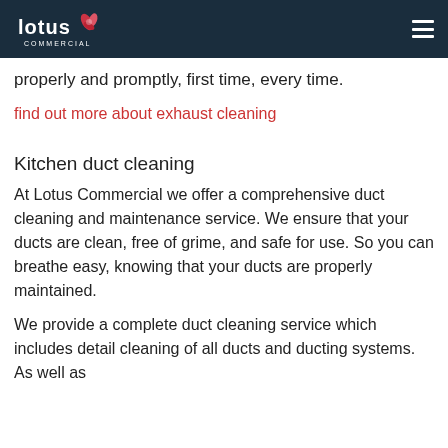Lotus Commercial [logo] [hamburger menu]
properly and promptly, first time, every time.
find out more about exhaust cleaning
Kitchen duct cleaning
At Lotus Commercial we offer a comprehensive duct cleaning and maintenance service. We ensure that your ducts are clean, free of grime, and safe for use. So you can breathe easy, knowing that your ducts are properly maintained.
We provide a complete duct cleaning service which includes detail cleaning of all ducts and ducting systems. As well as